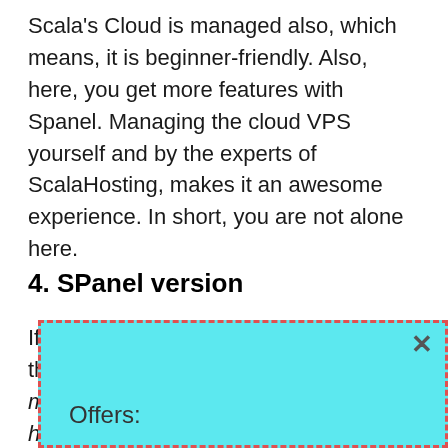Scala's Cloud is managed also, which means, it is beginner-friendly. Also, here, you get more features with Spanel. Managing the cloud VPS yourself and by the experts of ScalaHosting, makes it an awesome experience. In short, you are not alone here.
4. SPanel version
If we talk about the SPanel version there you are offered two security and managed hosting
[Figure (other): Popup overlay with cyan/teal background and red dashed border, showing an X close button and the text 'Offers:']